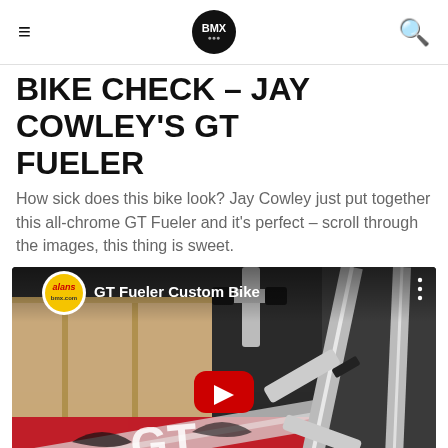BMX (logo)
BIKE CHECK – JAY COWLEY'S GT FUELER
How sick does this bike look? Jay Cowley just put together this all-chrome GT Fueler and it's perfect – scroll through the images, this thing is sweet.
[Figure (screenshot): YouTube video embed titled 'GT Fueler Custom Bike' showing a chrome GT BMX bike with red GT logo on a red surface, with alans bmx.com channel logo and a red YouTube play button in the center.]